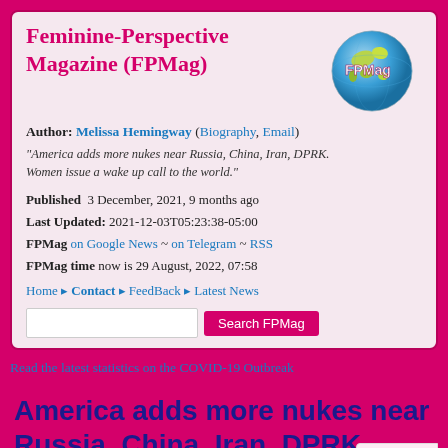Feminine-Perspective Magazine (FPMag)
Author: Melissa Hemingway (Biography, Email)
"America adds more nukes near Russia, China, Iran, DPRK. Women issue a wake up call to the world."
Published  3 December, 2021, 9 months ago
Last Updated: 2021-12-03T05:23:38-05:00
FPMag on Google News ~ on Telegram ~ RSS
FPMag time now is 29 August, 2022, 07:58
Home ▸ Contact ▸ FeedBack ▸ Latest News
Search FPMag
Read the latest statistics on the COVID-19 Outbreak
America adds more nukes near Russia, China, Iran, DPRK. Women